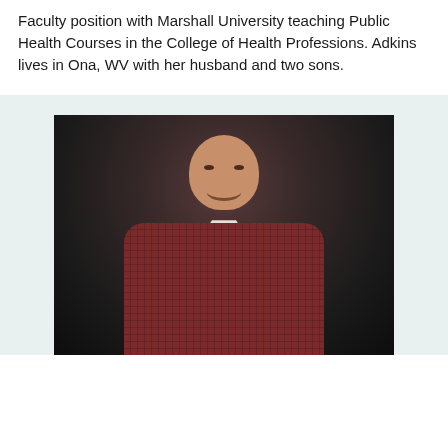Faculty position with Marshall University teaching Public Health Courses in the College of Health Professions. Adkins lives in Ona, WV with her husband and two sons.
[Figure (photo): Professional headshot of a smiling middle-aged man with a shaved/short hair, wearing a red/maroon checkered button-down shirt, photographed against a dark background.]